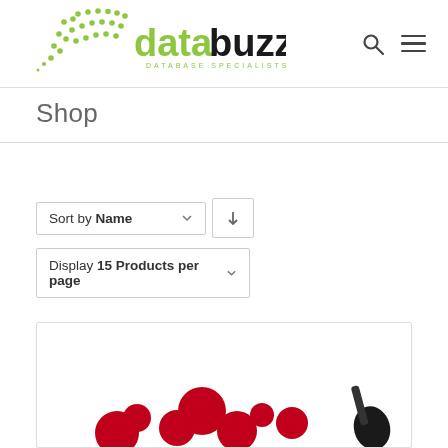[Figure (logo): Databuzz logo with green dots pattern and 'data' in green, 'buzz' in black, 'DATABASE SPECIALISTS' subtitle]
Shop
Sort by Name
Display 15 Products per page
[Figure (illustration): Partial product image showing red circles/dots pattern on white background, likely Databuzz branded product]